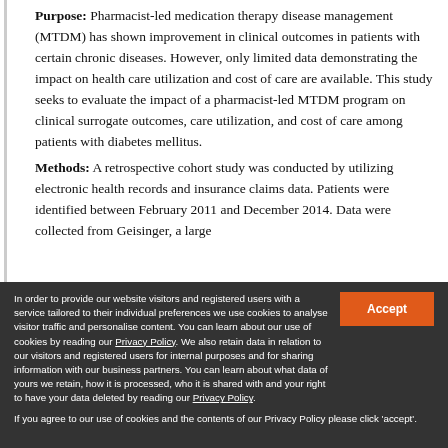Purpose: Pharmacist-led medication therapy disease management (MTDM) has shown improvement in clinical outcomes in patients with certain chronic diseases. However, only limited data demonstrating the impact on health care utilization and cost of care are available. This study seeks to evaluate the impact of a pharmacist-led MTDM program on clinical surrogate outcomes, care utilization, and cost of care among patients with diabetes mellitus.
Methods: A retrospective cohort study was conducted by utilizing electronic health records and insurance claims data. Patients were identified between February 2011 and December 2014. Data were collected from Geisinger, a large
In order to provide our website visitors and registered users with a service tailored to their individual preferences we use cookies to analyse visitor traffic and personalise content. You can learn about our use of cookies by reading our Privacy Policy. We also retain data in relation to our visitors and registered users for internal purposes and for sharing information with our business partners. You can learn about what data of yours we retain, how it is processed, who it is shared with and your right to have your data deleted by reading our Privacy Policy. If you agree to our use of cookies and the contents of our Privacy Policy please click 'accept'.